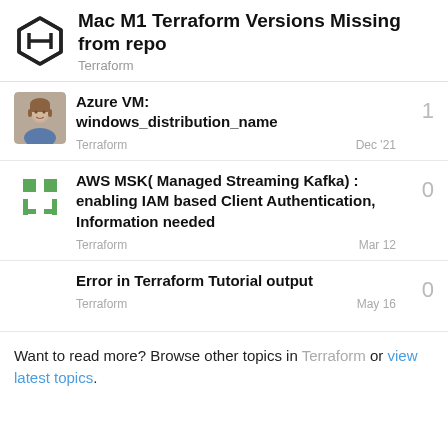Mac M1 Terraform Versions Missing from repo
Terraform
Azure VM: windows_distribution_name
Terraform
1
Dec '21
AWS MSK( Managed Streaming Kafka) : enabling IAM based Client Authentication, Information needed
Terraform
0
Mar 12
Error in Terraform Tutorial output
Terraform
0
May 16
Want to read more? Browse other topics in Terraform or view latest topics.